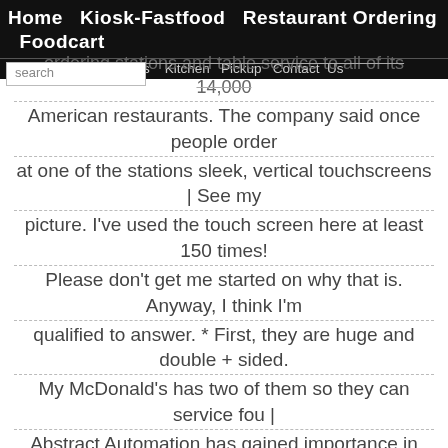Home  Kiosk-Fastfood  Restaurant Ordering  Foodcart
ordering stations and table service to all of its 14,000 American restaurants. The company said once people order at one of the stations sleek, vertical touchscreens | See my picture. I've used the touch screen here at least 150 times! Please don't get me started on why that is. Anyway, I think I'm qualified to answer. * First, they are huge and double + sided. My McDonald's has two of them so they can service fou | Abstract Automation has gained importance in every field of + human life. But there are still some fields where more traditional methods are being employed. One such field is the ordering system in restaurants. Generally, in restaurants menu ordering system will be available in paper format from that the customer has to | Free online ordering system for restaurants +. Get website ordering and Facebook ordering free of charge | ChowNow is an online food ordering system and marketing platform helping restaurants + feed their
search